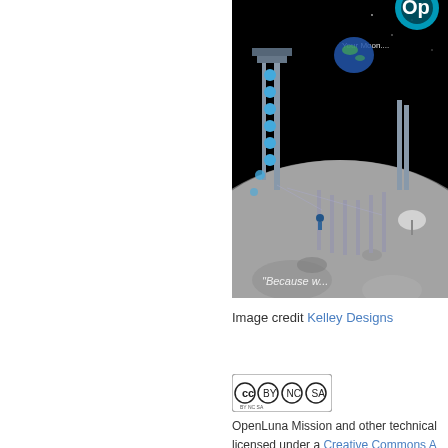[Figure (illustration): Artistic illustration of lunar surface operations showing robotic equipment, structures on the moon surface, Earth visible in the background, space in black background. OpenLuna branding visible at top with text 'Your Moon...' and at bottom 'Because w...' partial text. Blue spherical objects and tall structures visible.]
Image credit Kelley Designs
[Figure (logo): Creative Commons BY-NC-SA license badge]
OpenLuna Mission and other technical licensed under a Creative Commons A